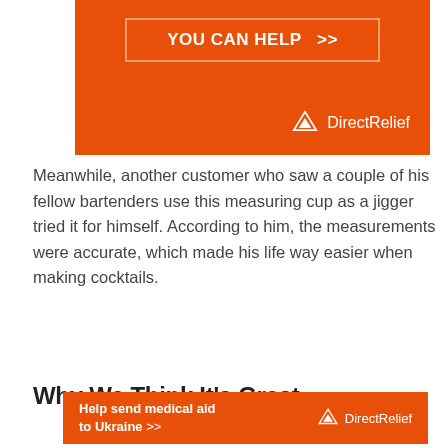[Figure (infographic): Orange Direct Relief banner with 'YOU CAN HELP >>' button and Direct Relief logo on orange background]
Meanwhile, another customer who saw a couple of his fellow bartenders use this measuring cup as a jigger tried it for himself. According to him, the measurements were accurate, which made his life way easier when making cocktails.
Why We Think It's Great
[Figure (infographic): Orange Direct Relief banner at bottom: 'Help send medical aid to Ukraine >>' with Direct Relief logo]